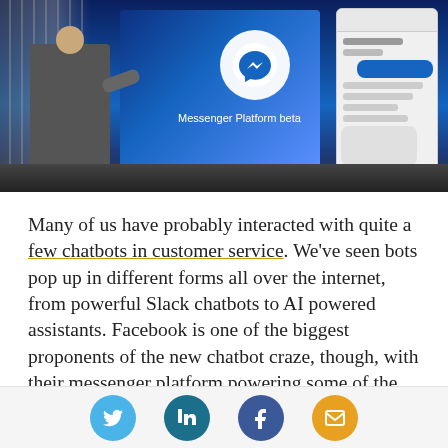[Figure (photo): Mark Zuckerberg on stage presenting the Messenger Platform beta at an F8 conference. A large screen shows the Facebook Messenger logo and a phone screen with chat interface. Text on screen reads 'Messenger Platform beta'.]
Many of us have probably interacted with quite a few chatbots in customer service. We've seen bots pop up in different forms all over the internet, from powerful Slack chatbots to AI powered assistants. Facebook is one of the biggest proponents of the new chatbot craze, though, with their messenger platform powering some of the most widely
[Figure (infographic): Social sharing buttons row: Twitter (light blue), LinkedIn (dark teal), Facebook (dark blue), Email (orange)]